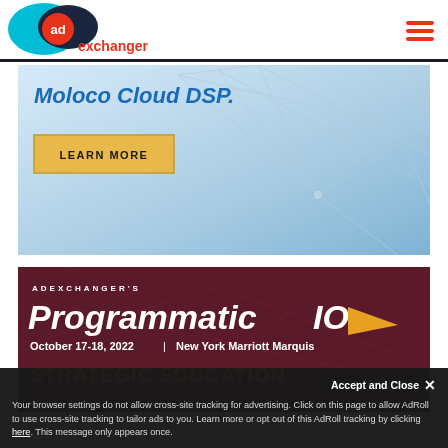[Figure (logo): AdExchanger logo with teal and dark blue overlapping ovals and orange 'ad' circle badge]
[Figure (screenshot): Moloco Cloud DSP advertisement banner with blue geometric background and yellow LEARN MORE button]
[Figure (screenshot): AdExchanger's Programmatic IO conference banner: October 17-18, 2022 | New York Marriott Marquis. STRATEGIC EDUCATION FOR DATA-DRIVEN on dark red/maroon background]
Accept and Close ✕
Your browser settings do not allow cross-site tracking for advertising. Click on this page to allow AdRoll to use cross-site tracking to tailor ads to you. Learn more or opt out of this AdRoll tracking by clicking here. This message only appears once.